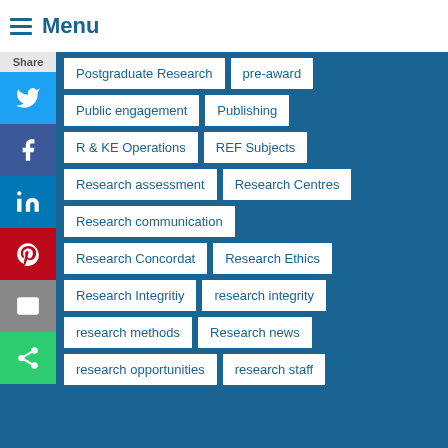Menu
Postgraduate Research
pre-award
Public engagement
Publishing
R & KE Operations
REF Subjects
Research assessment
Research Centres
Research communication
Research Concordat
Research Ethics
Research Integritiy
research integrity
research methods
Research news
research opportunities
research staff